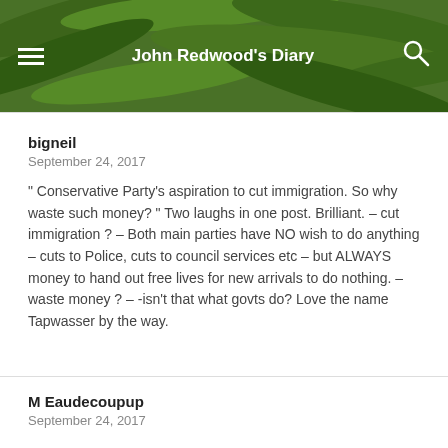John Redwood's Diary
bigneil
September 24, 2017
" Conservative Party's aspiration to cut immigration. So why waste such money? " Two laughs in one post. Brilliant. – cut immigration ? – Both main parties have NO wish to do anything – cuts to Police, cuts to council services etc – but ALWAYS money to hand out free lives for new arrivals to do nothing. – waste money ? – -isn't that what govts do? Love the name Tapwasser by the way.
M Eaudecoupup
September 24, 2017